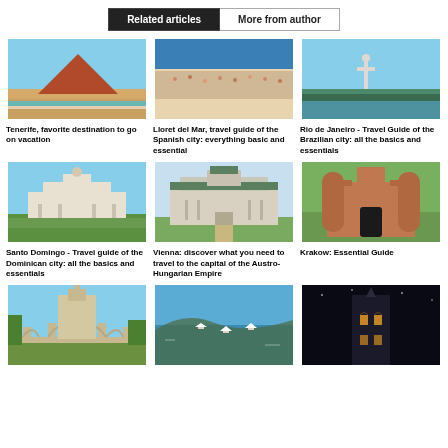Related articles | More from author
[Figure (photo): Aerial view of Tenerife beach with red mountain and turquoise water]
Tenerife, favorite destination to go on vacation
[Figure (photo): Crowded Lloret del Mar beach from aerial view]
Lloret del Mar, travel guide of the Spanish city: everything basic and essential
[Figure (photo): Christ the Redeemer statue in Rio de Janeiro aerial view]
Rio de Janeiro - Travel Guide of the Brazilian city: all the basics and essentials
[Figure (photo): Santo Domingo colonial building with green lawn]
Santo Domingo - Travel guide of the Dominican city: all the basics and essentials
[Figure (photo): Belvedere Palace Vienna symmetric facade]
Vienna: discover what you need to travel to the capital of the Austro-Hungarian Empire
[Figure (photo): Krakow barbican medieval fortress red brick]
Krakow: Essential Guide
[Figure (photo): Salamanca bridge and cathedral sunny day]
[Figure (photo): Bay with sailboats turquoise water]
[Figure (photo): Prague gothic tower at night]